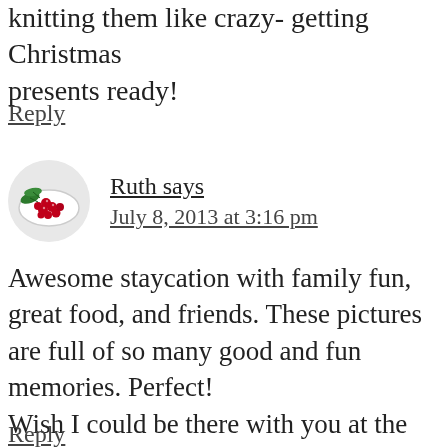knitting them like crazy- getting Christmas presents ready!
Reply
[Figure (photo): Round avatar image showing a white plate with red berries (cranberries) and green leaves]
Ruth says
July 8, 2013 at 3:16 pm
Awesome staycation with family fun, great food, and friends. These pictures are full of so many good and fun memories. Perfect!
Wish I could be there with you at the Becoming conference. I know you will be great!!
Reply